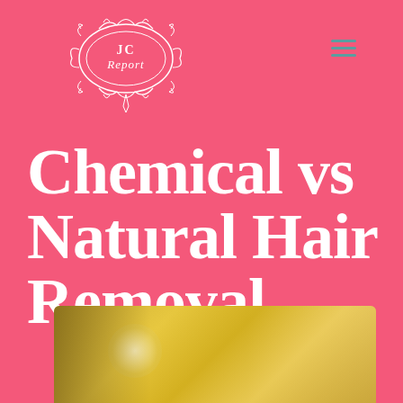[Figure (logo): JC Report decorative oval ornamental logo in white outline on pink background]
Chemical vs Natural Hair Removal
[Figure (photo): Close-up photo of golden/amber colored wax or resin for hair removal, showing shiny smooth surface in warm yellow-gold tones]